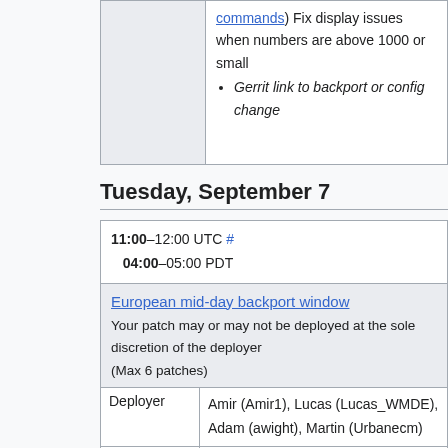|  |  |
| --- | --- |
|  | commands) Fix display issues when numbers are above 1000 or small
• Gerrit link to backport or config change |
Tuesday, September 7
| 11:00–12:00 UTC # 04:00–05:00 PDT |
| European mid-day backport window
Your patch may or may not be deployed at the sole discretion of the deployer
(Max 6 patches) |
| Deployer | Amir (Amir1), Lucas (Lucas_WMDE), Adam (awight), Martin (Urbanecm) |
| Changes | Adam (awight) |